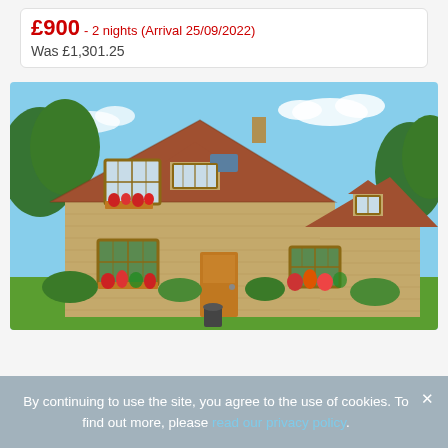£900 - 2 nights (Arrival 25/09/2022) Was £1,301.25
[Figure (photo): Exterior photo of a large stone cottage / detached house with orange-brick walls, pitched red-tiled roof with dormer windows and skylights, wooden-framed windows with flower boxes, a wooden front door, and a well-kept garden with colourful flower beds and a green lawn, photographed on a sunny day.]
By continuing to use the site, you agree to the use of cookies. To find out more, please read our privacy policy.